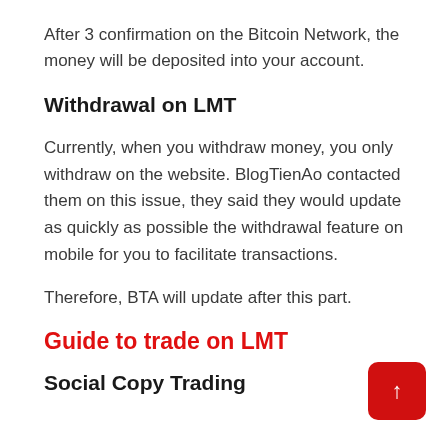After 3 confirmation on the Bitcoin Network, the money will be deposited into your account.
Withdrawal on LMT
Currently, when you withdraw money, you only withdraw on the website. BlogTienAo contacted them on this issue, they said they would update as quickly as possible the withdrawal feature on mobile for you to facilitate transactions.
Therefore, BTA will update after this part.
Guide to trade on LMT
Social Copy Trading